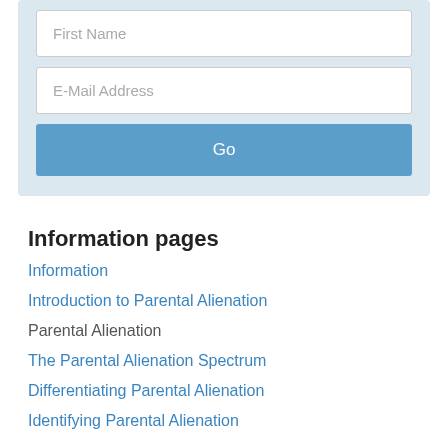[Figure (screenshot): Newsletter signup form with First Name field, E-Mail Address field, and a Go button on a light blue background]
Information pages
Information
Introduction to Parental Alienation
Parental Alienation
The Parental Alienation Spectrum
Differentiating Parental Alienation
Identifying Parental Alienation